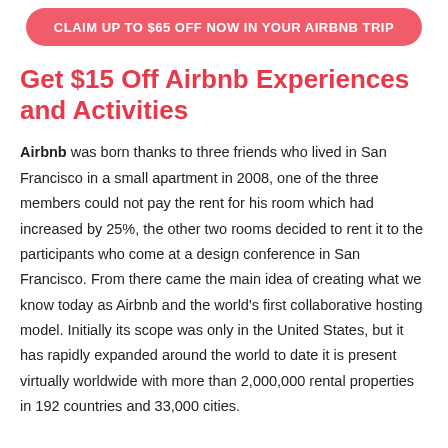[Figure (other): Red rounded button with white text: CLAIM UP TO $65 OFF NOW IN YOUR AIRBNB TRIP]
Get $15 Off Airbnb Experiences and Activities
Airbnb was born thanks to three friends who lived in San Francisco in a small apartment in 2008, one of the three members could not pay the rent for his room which had increased by 25%, the other two rooms decided to rent it to the participants who come at a design conference in San Francisco. From there came the main idea of creating what we know today as Airbnb and the world's first collaborative hosting model. Initially its scope was only in the United States, but it has rapidly expanded around the world to date it is present virtually worldwide with more than 2,000,000 rental properties in 192 countries and 33,000 cities.
The list has so many cool things to do and activities like: